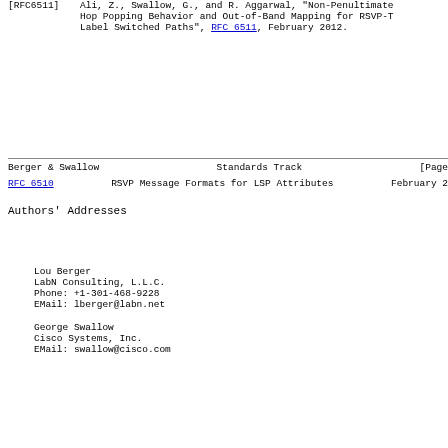[RFC6511]  Ali, Z., Swallow, G., and R. Aggarwal, "Non-Penultimate Hop Popping Behavior and Out-of-Band Mapping for RSVP-T Label Switched Paths", RFC 6511, February 2012.
Berger & Swallow                Standards Track                [Page
RFC 6510          RSVP Message Formats for LSP Attributes      February 2
Authors' Addresses
Lou Berger
LabN Consulting, L.L.C.
Phone: +1-301-468-9228
EMail: lberger@labn.net
George Swallow
Cisco Systems, Inc.
EMail: swallow@cisco.com